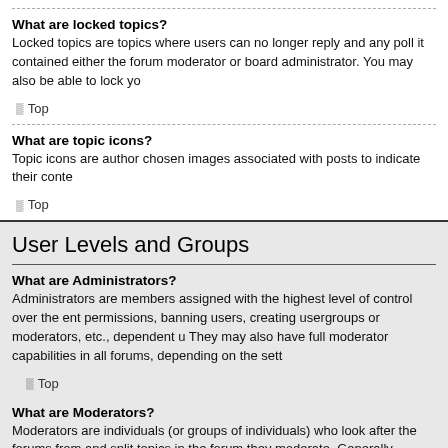What are locked topics?
Locked topics are topics where users can no longer reply and any poll it contained either the forum moderator or board administrator. You may also be able to lock yo
↑ Top
What are topic icons?
Topic icons are author chosen images associated with posts to indicate their conte
↑ Top
User Levels and Groups
What are Administrators?
Administrators are members assigned with the highest level of control over the ent permissions, banning users, creating usergroups or moderators, etc., dependent u They may also have full moderator capabilities in all forums, depending on the sett
↑ Top
What are Moderators?
Moderators are individuals (or groups of individuals) who look after the forums from and split topics in the forum they moderate. Generally, moderators are present to p
↑ Top